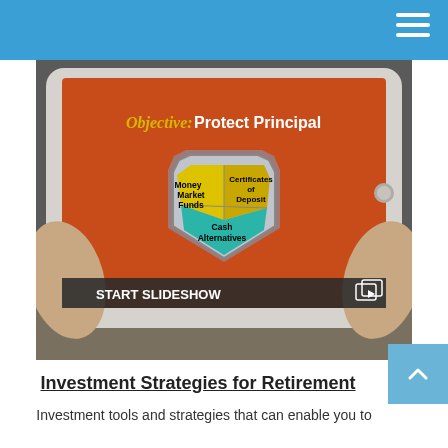[Figure (screenshot): A tablet being held displaying a slideshow slide with orange background. The slide shows 'Objective: Protect Principal' in yellow italic text and white text. A shield graphic contains three colored sections labeled 'Money Market Funds' (yellow), 'Certificates of Deposit' (yellow), and 'Cash Alternatives' (teal). A dark banner at the bottom reads 'START SLIDESHOW' in bold white text with a slideshow icon.]
Investment Strategies for Retirement
Investment tools and strategies that can enable you to